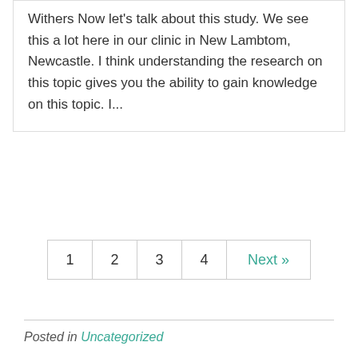Withers Now let's talk about this study. We see this a lot here in our clinic in New Lambtom, Newcastle. I think understanding the research on this topic gives you the ability to gain knowledge on this topic. I...
1  2  3  4  Next »
Posted in Uncategorized